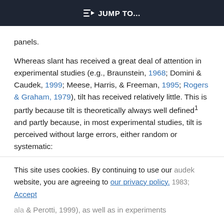JUMP TO...
panels.
Whereas slant has received a great deal of attention in experimental studies (e.g., Braunstein, 1968; Domini & Caudek, 1999; Meese, Harris, & Freeman, 1995; Rogers & Graham, 1979), tilt has received relatively little. This is partly because tilt is theoretically always well defined1 and partly because, in most experimental studies, tilt is perceived without large errors, either random or systematic:
This site uses cookies. By continuing to use our website, you are agreeing to our privacy policy. Accept
& Perotti, 1999), as well as in experiments